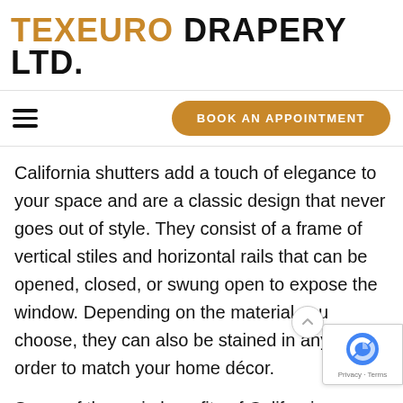TEXEURO DRAPERY LTD.
[Figure (other): Navigation bar with hamburger menu icon and 'BOOK AN APPOINTMENT' button]
California shutters add a touch of elegance to your space and are a classic design that never goes out of style. They consist of a frame of vertical stiles and horizontal rails that can be opened, closed, or swung open to expose the window. Depending on the material you choose, they can also be stained in any hue in order to match your home décor.
Some of the main benefits of California shutters are that they create aesthetic appeal and de... to any room, they are available in different siz... optimal fit and coverage, and they are energy